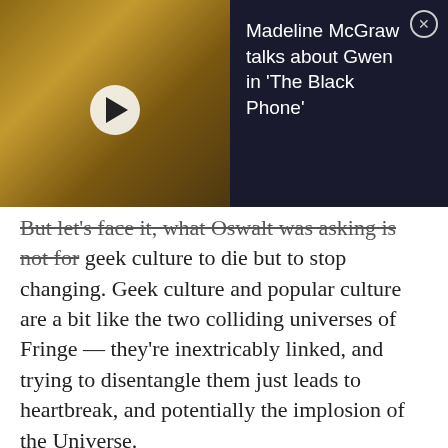[Figure (screenshot): Video thumbnail overlay showing two women in a video call format on dark background, with title 'Madeline McGraw talks about Gwen in The Black Phone' and a close button]
But let's face it, what Oswalt was asking is not for geek culture to die but to stop changing. Geek culture and popular culture are a bit like the two colliding universes of Fringe — they're inextricably linked, and trying to disentangle them just leads to heartbreak, and potentially the implosion of the Universe.
It seems we focus so much on how geek culture is becoming mainstream that we forget that mainstream culture is also becoming very geeky. For every NES tattoo and Admiral Ackbar t-shirt spawned into the